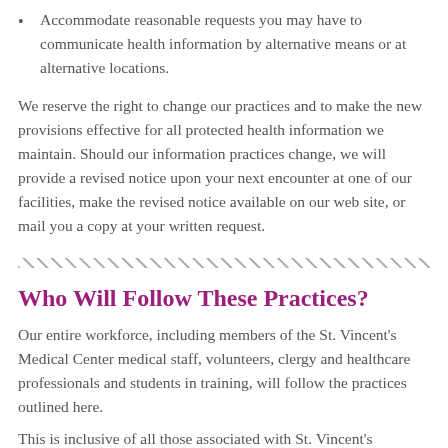Accommodate reasonable requests you may have to communicate health information by alternative means or at alternative locations.
We reserve the right to change our practices and to make the new provisions effective for all protected health information we maintain. Should our information practices change, we will provide a revised notice upon your next encounter at one of our facilities, make the revised notice available on our web site, or mail you a copy at your written request.
Who Will Follow These Practices?
Our entire workforce, including members of the St. Vincent's Medical Center medical staff, volunteers, clergy and healthcare professionals and students in training, will follow the practices outlined here.
This is inclusive of all those associated with St. Vincent's